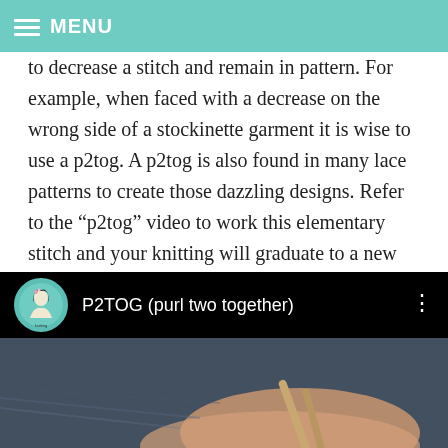MENU
to decrease a stitch and remain in pattern. For example, when faced with a decrease on the wrong side of a stockinette garment it is wise to use a p2tog. A p2tog is also found in many lace patterns to create those dazzling designs. Refer to the “p2tog” video to work this elementary stitch and your knitting will graduate to a new level!
[Figure (screenshot): YouTube video embed showing 'P2TOG (purl two together)' with channel avatar and knitting thumbnail]